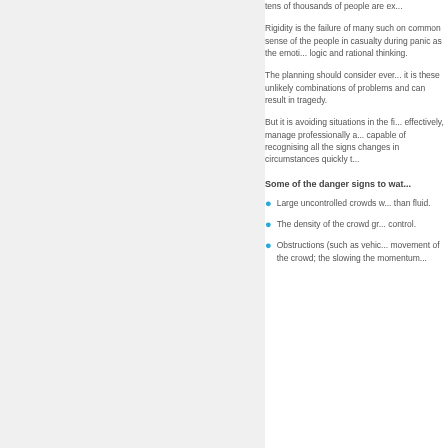tens of thousands of people are ex...
Rigidity is the failure of many such on common sense of the people in casualty during panic as the emoti... logic and rational thinking.
The planning should consider ever... it is these unlikely combinations of... problems and can result in tragedy.
But it is avoiding situations in the fi... effectively, manage professionally a... capable of recognising all the signs changes in circumstances quickly t...
Some of the danger signs to wat...
Large uncontrolled crowds w... than fluid.
The density of the crowd gr... control.
Obstructions (such as vehic... movement of the crowd; the slowing the momentum...